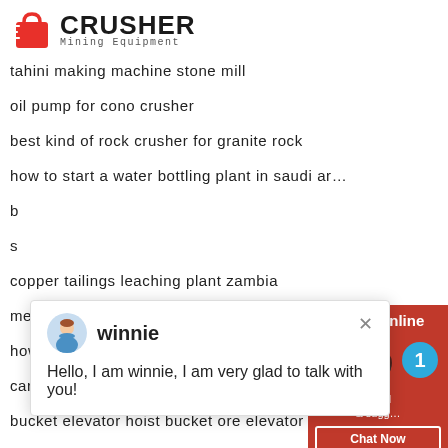[Figure (logo): Crusher Mining Equipment logo with red shopping bag icon and bold CRUSHER text]
tahini making machine stone mill
oil pump for cono crusher
best kind of rock crusher for granite rock
how to start a water bottling plant in saudi ar…
b…
s…
copper tailings leaching plant zambia
metalfer steel mill doo
how to design a crusher plant
carbide wet ball mill materials
bucket elevator hoist bucket ore elevator
limestone quarry in cape town
[Figure (screenshot): Chat popup with winnie avatar: Hello, I am winnie, I am very glad to talk with you!]
[Figure (infographic): Red right sidebar: 24Hrs Online, headphone/chat icon, Need & suggestions button, Chat Now, dashed line, Enquiry, dashed line, limingjlmofen@sina.com, with blue notification circle showing 1]